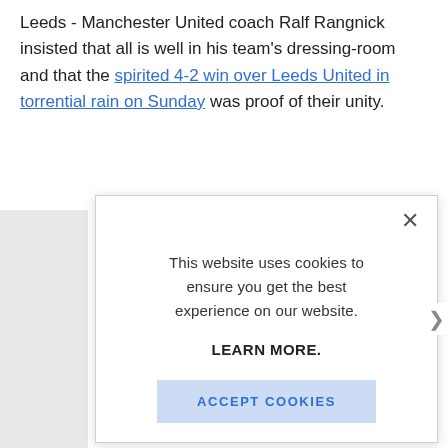Leeds - Manchester United coach Ralf Rangnick insisted that all is well in his team's dressing-room and that the spirited 4-2 win over Leeds United in torrential rain on Sunday was proof of their unity.
This website uses cookies to ensure you get the best experience on our website.

LEARN MORE.

ACCEPT COOKIES